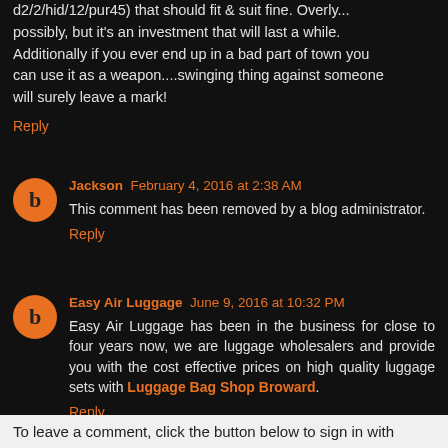d2/2/hid/12/pur45) that should fit & suit fine. Overly...possibly, but it's an investment that will last a while. Additionally if you ever end up in a bad part of town you can use it as a weapon....swinging thing against someone will surely leave a mark!
Reply
Jackson February 4, 2016 at 2:38 AM
This comment has been removed by a blog administrator.
Reply
Easy Air Luggage June 9, 2016 at 10:32 PM
Easy Air Luggage has been in the business for close to four years now, we are luggage wholesalers and provide you with the cost effective prices on high quality luggage sets with Luggage Bag Shop Broward.
Reply
To leave a comment, click the button below to sign in with